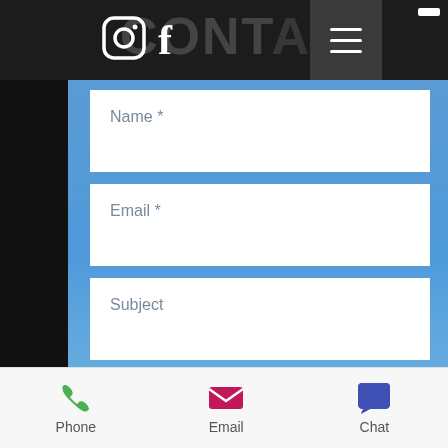CONTACT
[Figure (screenshot): Website contact form screenshot showing header with Instagram and Facebook icons, hamburger menu button, and background photo of a pool supply store building]
Name *
Email *
Subject
Message
Phone
Email
Chat